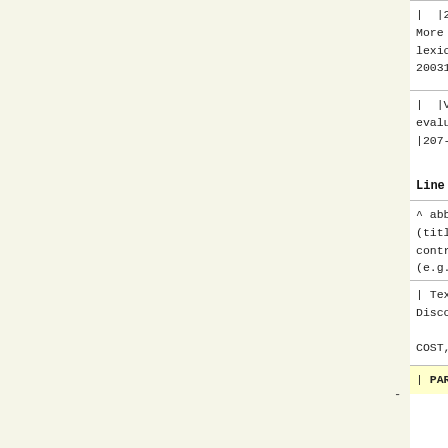| |211/11 11hova | Moving 1...
More linguistic information for
lexical analysis of English and
20031S |207-13/201406 | 2015-20
| |Vladislav Kuboň | K lingvist...
evaluativního významu v češtině
|207-13/201424 | 2015-2017 | GA
Line 63:
^ abbrev. ^ Principal Investigat...
(title as in contract) ^ Grant n...
contract) ^ Account number ^ Per...
(e.g. type, provider) ^
| TextLink    | Jiři Mirovský ...
Discourse in Multilingual Europe...
         |              | 2014...
COST, pouze cestovní evropský gr
| PARRSEME    | Jan Hajič

         | 207-29/208100 | 2014-
CZ (MŠMT) (Eda Bejček) |
| LCT - školné | Vladislav Kuboň
bonus/tržby
         | ZDROJ 207-01/LCT | 2...
školné (úfali podíl)|